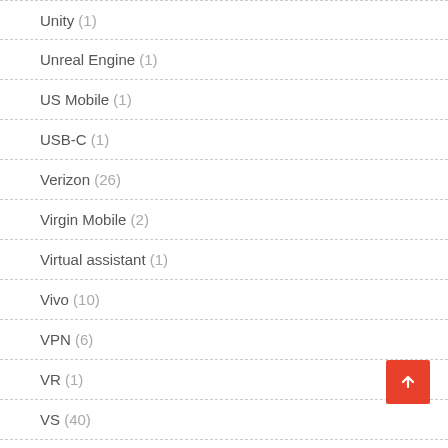Unity (1)
Unreal Engine (1)
US Mobile (1)
USB-C (1)
Verizon (26)
Virgin Mobile (2)
Virtual assistant (1)
Vivo (10)
VPN (6)
VR (1)
VS (40)
Vudu (3)